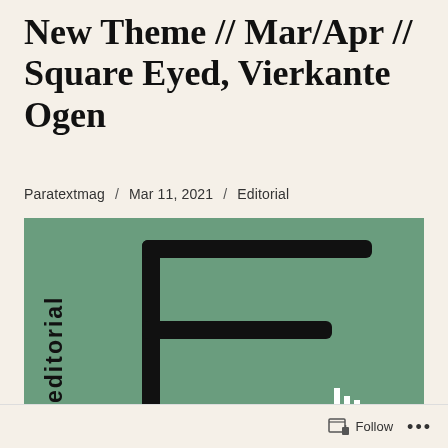New Theme // Mar/Apr // Square Eyed, Vierkante Ogen
Paratextmag / Mar 11, 2021 / Editorial
[Figure (illustration): Green background editorial cover image with the word 'editorial' written vertically on the left side and a large bold letter 'F' shape in black on the right, with a small white bar chart element visible at the bottom right.]
Follow ...